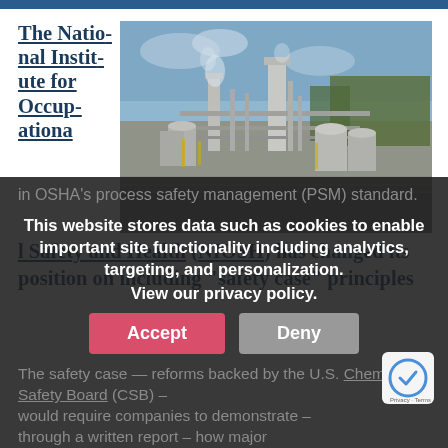The National Institute for Occupational Safety and Health (NIOSH) has changed its position on including “safety case” principles in OSHA’s process safety management (PSM) standard.
[Figure (photo): Aerial/ground view of a large industrial chemical plant with pipes, tanks, towers, and processing equipment under a partly cloudy sky with trees in background.]
The safety case — a reforms backed by the U.S. Chemical Safety Board (CSB) – would require companies to demonstrate – through a written report – how major
This website stores data such as cookies to enable important site functionality including analytics, targeting, and personalization. View our privacy policy.